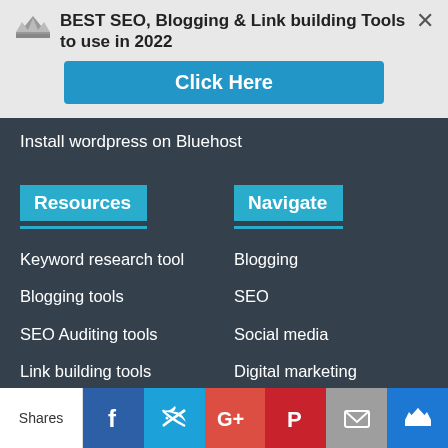BEST SEO, Blogging & Link building Tools to use in 2022
[Figure (screenshot): Blue Click Here button]
Install wordpress on Bluehost
Resources
Keyword research tool
Blogging tools
SEO Auditing tools
Link building tools
Browser Extensions
Navigate
Blogging
SEO
Social media
Digital marketing
big data
Shares | Facebook | Twitter | Google+ | Pinterest | Mail | Crown